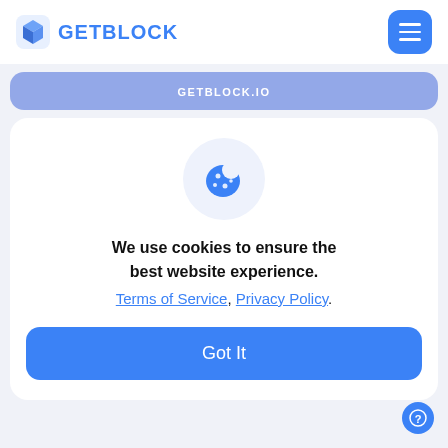GETBLOCK
GETBLOCK.IO
[Figure (illustration): Cookie icon (blue cookie with dots) inside a light blue circle]
We use cookies to ensure the best website experience. Terms of Service, Privacy Policy.
Got It